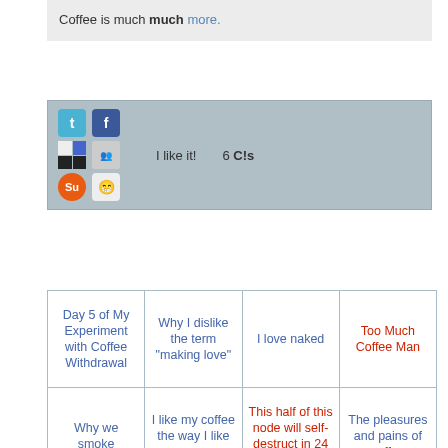Coffee is much much more.
[Figure (screenshot): Social sharing bar with Twitter, Facebook, grid icons, faces icon, I like it!, 6 C!s, StumbleUpon, Reddit icons]
| Day 5 of My Experiment with Coffee Withdrawal | Why I dislike the term "making love" | I love naked | Too Much Coffee Man |
| Why we smoke | I like my coffee the way I like my women | This half of this node will self-destruct in 24 hours | The pleasures and pains of coffee |
| the coffee is just water dressed in brown | Caribou Coffee | Comfortably Numb | making love in Japanese |
|  | Egyptian | You will lose |  |